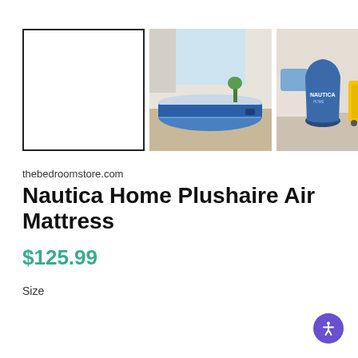[Figure (photo): Product image gallery with three thumbnails: first is a blank white box with black border (main selected thumbnail), second shows a blue Nautica air mattress in a bright room, third shows a blue Nautica branded bag next to a yellow suitcase in a bedroom. A right navigation arrow appears overlapping the third image.]
thebedroomstore.com
Nautica Home Plushaire Air Mattress
$125.99
Size